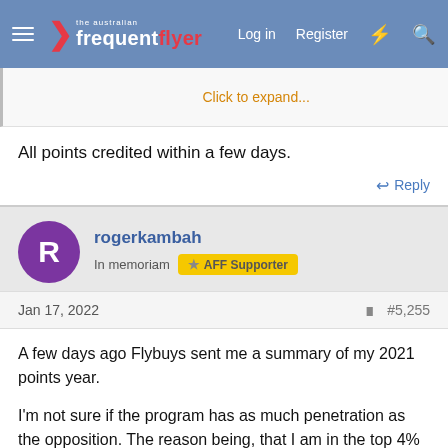The Australian Frequent Flyer — Log in | Register
Click to expand...
All points credited within a few days.
Reply
rogerkambah
In memoriam | AFF Supporter
Jan 17, 2022 #5,255
A few days ago Flybuys sent me a summary of my 2021 points year.
I'm not sure if the program has as much penetration as the opposition. The reason being, that I am in the top 4% of points earners in both the ACT and Australia. Most of my points are bonus points (100K plus), mainly from Coles although sometimes I don't have any bonus offers for a couple of weeks. I